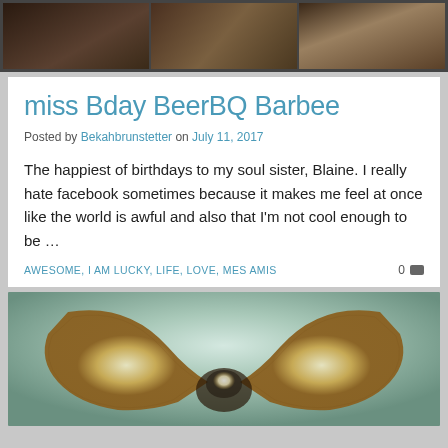[Figure (photo): Top banner photo strip showing three panels with dark photographic content]
miss Bday BeerBQ Barbee
Posted by Bekahbrunstetter on July 11, 2017
The happiest of birthdays to my soul sister, Blaine. I really hate facebook sometimes because it makes me feel at once like the world is awful and also that I'm not cool enough to be ...
AWESOME, I AM LUCKY, LIFE, LOVE, MES AMIS
[Figure (photo): Photo of pages of a book folded into a heart shape, warm golden tones against a soft teal background]